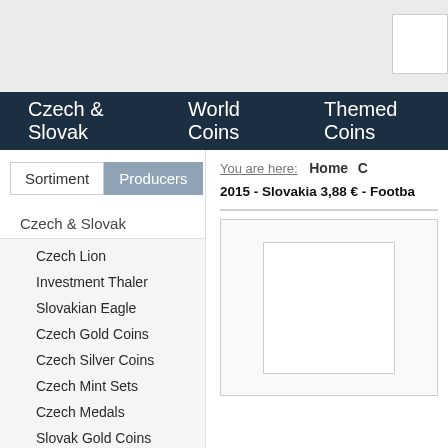Czech & Slovak   World Coins   Themed Coins
Sortiment   Producers
Czech & Slovak
Czech Lion
Investment Thaler
Slovakian Eagle
Czech Gold Coins
Czech Silver Coins
Czech Mint Sets
Czech Medals
Slovak Gold Coins
Slovak Silver Coins
Slovak Mint Sets
You are here:   Home   C
2015 - Slovakia 3,88 € - Footba